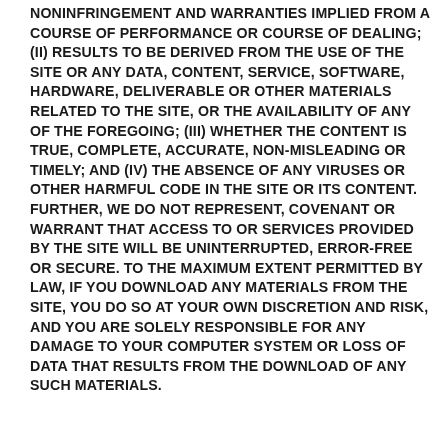NONINFRINGEMENT AND WARRANTIES IMPLIED FROM A COURSE OF PERFORMANCE OR COURSE OF DEALING; (II) RESULTS TO BE DERIVED FROM THE USE OF THE SITE OR ANY DATA, CONTENT, SERVICE, SOFTWARE, HARDWARE, DELIVERABLE OR OTHER MATERIALS RELATED TO THE SITE, OR THE AVAILABILITY OF ANY OF THE FOREGOING; (III) WHETHER THE CONTENT IS TRUE, COMPLETE, ACCURATE, NON-MISLEADING OR TIMELY; AND (IV) THE ABSENCE OF ANY VIRUSES OR OTHER HARMFUL CODE IN THE SITE OR ITS CONTENT. FURTHER, WE DO NOT REPRESENT, COVENANT OR WARRANT THAT ACCESS TO OR SERVICES PROVIDED BY THE SITE WILL BE UNINTERRUPTED, ERROR-FREE OR SECURE. TO THE MAXIMUM EXTENT PERMITTED BY LAW, IF YOU DOWNLOAD ANY MATERIALS FROM THE SITE, YOU DO SO AT YOUR OWN DISCRETION AND RISK, AND YOU ARE SOLELY RESPONSIBLE FOR ANY DAMAGE TO YOUR COMPUTER SYSTEM OR LOSS OF DATA THAT RESULTS FROM THE DOWNLOAD OF ANY SUCH MATERIALS.